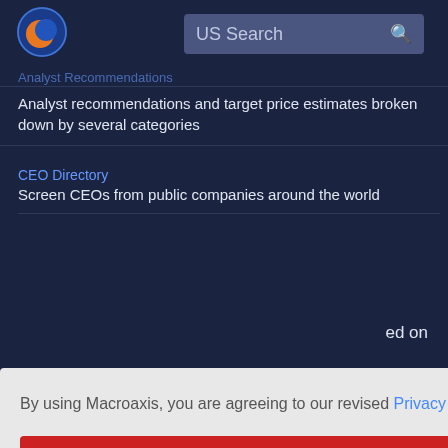[Figure (logo): Macroaxis globe logo with orange and blue colors]
US Search
Analyst recommendations and target price estimates broken down by several categories
CEO Directory
Screen CEOs from public companies around the world
By using Macroaxis, you are agreeing to our revised Privacy Policy
OK
Watchlist Optimization